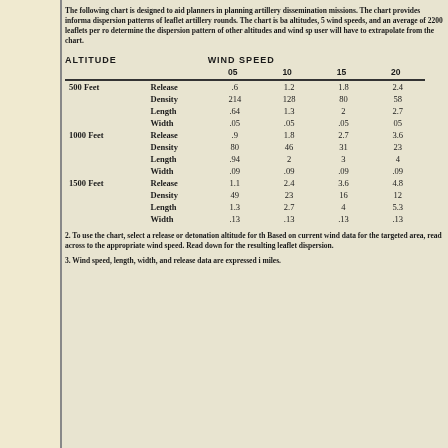The following chart is designed to aid planners in planning artillery dissemination missions. The chart provides information on dispersion patterns of leaflet artillery rounds. The chart is based on altitudes, 5 wind speeds, and an average of 2200 leaflets per round. To determine the dispersion pattern of other altitudes and wind speeds, the user will have to extrapolate from the chart.
| ALTITUDE |  | WIND SPEED 05 | WIND SPEED 10 | WIND SPEED 15 | WIND SPEED 20 |
| --- | --- | --- | --- | --- | --- |
| 500 Feet | Release | .6 | 1.2 | 1.8 | 2.4 |
|  | Density | 214 | 128 | 80 | 58 |
|  | Length | .64 | 1.3 | 2 | 2.7 |
|  | Width | .05 | .05 | .05 | 05 |
| 1000 Feet | Release | .9 | 1.8 | 2.7 | 3.6 |
|  | Density | 80 | 46 | 31 | 23 |
|  | Length | .94 | 2 | 3 | 4 |
|  | Width | .09 | .09 | .09 | .09 |
| 1500 Feet | Release | 1.1 | 2.4 | 3.6 | 4.8 |
|  | Density | 49 | 23 | 16 | 12 |
|  | Length | 1.3 | 2.7 | 4 | 5.3 |
|  | Width | .13 | .13 | .13 | .13 |
2. To use the chart, select a release or detonation altitude for the area. Based on current wind data for the targeted area, read across to the appropriate wind speed. Read down for the resulting leaflet dispersion.
3. Wind speed, length, width, and release data are expressed in miles.